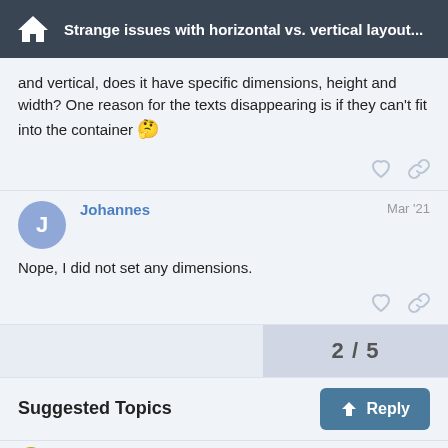Strange issues with horizontal vs. vertical layout...
and vertical, does it have specific dimensions, height and width? One reason for the texts disappearing is if they can't fit into the container 🤔
Johannes   Mar '21
Nope, I did not set any dimensions.
2 / 5
Suggested Topics